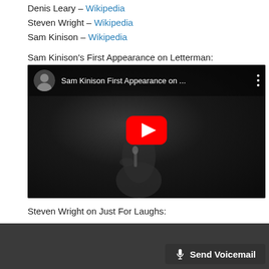Denis Leary – Wikipedia
Steven Wright – Wikipedia
Sam Kinison – Wikipedia
Sam Kinison's First Appearance on Letterman:
[Figure (screenshot): YouTube video embed showing Sam Kinison First Appearance on Letterman. Thumbnail shows a dark-lit performer holding a microphone on a stage. A large red YouTube play button is centered on the thumbnail.]
Steven Wright on Just For Laughs:
[Figure (screenshot): Bottom portion of a second video embed (dark thumbnail, partially visible). A 'Send Voicemail' button overlay is visible in the bottom right corner.]